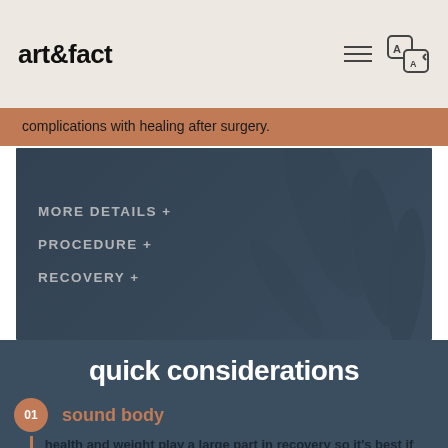art&fact
complications with healing after surgery.
MORE DETAILS +
PROCEDURE +
RECOVERY +
quick considerations
01 sound body
health and weight play a large part in recovery so it's best if both are stable